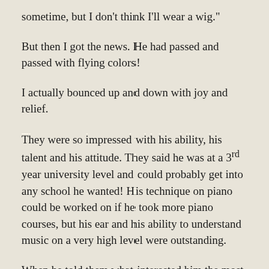sometime, but I don't think I'll wear a wig."
But then I got the news. He had passed and passed with flying colors!
I actually bounced up and down with joy and relief.
They were so impressed with his ability, his talent and his attitude. They said he was at a 3rd year university level and could probably get into any school he wanted! His technique on piano could be worked on if he took more piano courses, but his ear and his ability to understand music on a very high level were outstanding.
When he told them what interested him the most, composition and music production, they thought that was an amazing choice for him with the skill-set and talent that he had demonstrated. When they found out